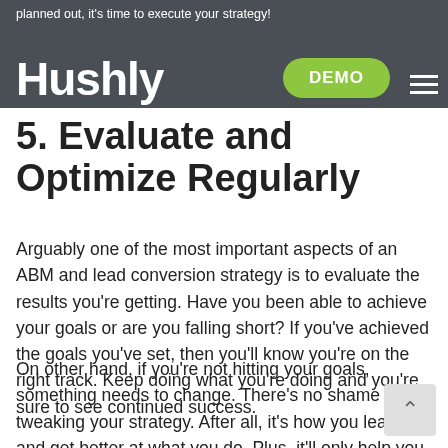planned out, it's time to execute your strategy!
Hushly | DEMO
5. Evaluate and Optimize Regularly
Arguably one of the most important aspects of an ABM and lead conversion strategy is to evaluate the results you're getting. Have you been able to achieve your goals or are you falling short? If you've achieved the goals you've set, then you'll know you're on the right track. Keep doing what you're doing and you're sure to see continued success.
On other hand, if you're not hitting your goals, something needs to change. There's no shame in tweaking your strategy. After all, it's how you learn and get better at what you do. Plus, it'll only help you create a stronger strategy in the long run. You may want to implement a new marketing channel or cut one out that hasn't been